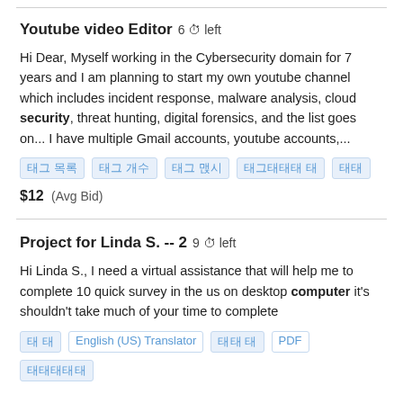Youtube video Editor  6 🕐 left
Hi Dear, Myself working in the Cybersecurity domain for 7 years and I am planning to start my own youtube channel which includes incident response, malware analysis, cloud security, threat hunting, digital forensics, and the list goes on... I have multiple Gmail accounts, youtube accounts,...
태그 목록: [태그1] [태그2] [태그3] [태그태태태 태] [태태]
$12  (Avg Bid)
Project for Linda S. -- 2  9 🕐 left
Hi Linda S., I need a virtual assistance that will help me to complete 10 quick survey in the us on desktop computer it's shouldn't take much of your time to complete
태그 목록: [태태] [English (US) Translator] [태 태] [PDF] [태태태태]